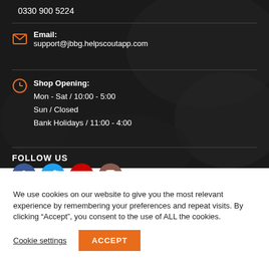0330 900 5224
Email: support@jbbg.helpscoutapp.com
Shop Opening: Mon - Sat / 10:00 - 5:00 Sun / Closed Bank Holidays / 11:00 - 4:00
FOLLOW US
[Figure (illustration): Social media icons: Facebook (blue circle with f), Twitter (teal circle with bird), YouTube (red circle with play button), Instagram (brown/dark circle with camera)]
We use cookies on our website to give you the most relevant experience by remembering your preferences and repeat visits. By clicking “Accept”, you consent to the use of ALL the cookies.
Cookie settings
ACCEPT